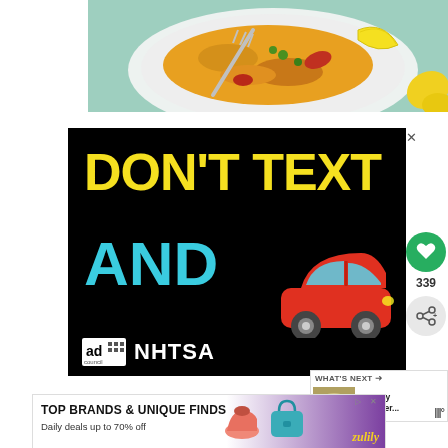[Figure (photo): Food photo showing a plate of paella or rice dish with lemon wedge and fork on a light blue background]
[Figure (infographic): Black background advertisement with yellow bold text 'DON'T TEXT' and cyan text 'AND' with a cartoon red car illustration. Ad Council and NHTSA logos at bottom. Close X button top right.]
[Figure (infographic): WHAT'S NEXT arrow label with thumbnail of a food dish and text 'Creamy Leftover...']
[Figure (infographic): Bottom advertisement banner: TOP BRANDS & UNIQUE FINDS - Daily deals up to 70% off - showing shoes and a purse with Zulily branding in purple]